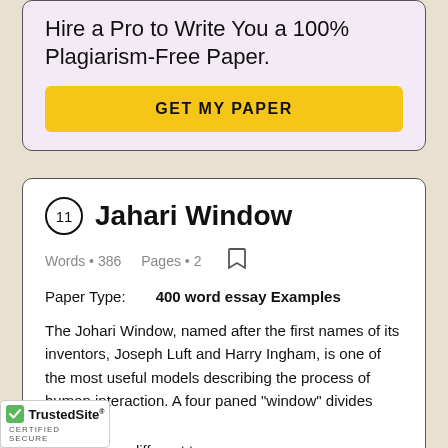Hire a Pro to Write You a 100% Plagiarism-Free Paper.
GET MY PAPER
11 Jahari Window
Words • 386    Pages • 2
Paper Type:    400 word essay Examples
The Johari Window, named after the first names of its inventors, Joseph Luft and Harry Ingham, is one of the most useful models describing the process of human interaction. A four paned "window" divides personal awareness into four different types, as represented by its four quadrants: open